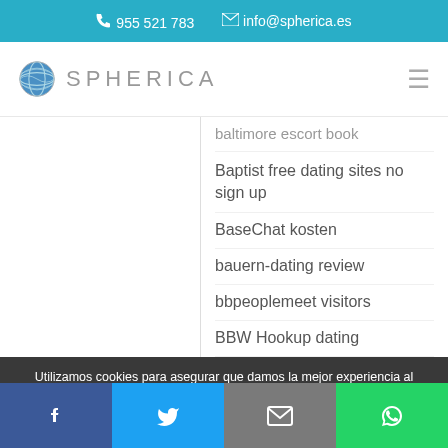955 521 783   info@spherica.es
[Figure (logo): Spherica globe and text logo with hamburger menu icon]
baltimore escort book
Baptist free dating sites no sign up
BaseChat kosten
bauern-dating review
bbpeoplemeet visitors
BBW Hookup dating
bbwcupid de review
Utilizamos cookies para asegurar que damos la mejor experiencia al usuario en nuestro sitio web. Si continúa utilizando este sitio asumiremos que está de acuerdo.
Facebook | Twitter | Email | WhatsApp